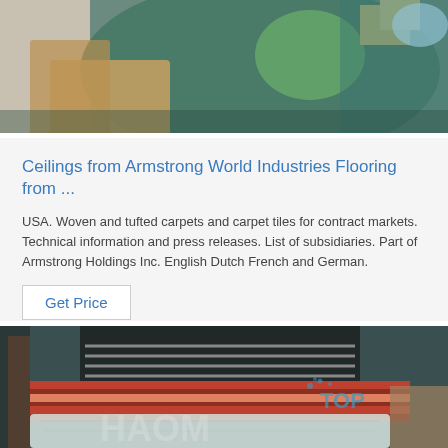[Figure (photo): Photo of warehouse or storage area with cardboard, green fabric/tarpaulin, and boxes]
Ceilings from Armstrong World Industries Flooring from …
USA. Woven and tufted carpets and carpet tiles for contract markets. Technical information and press releases. List of subsidiaries. Part of Armstrong Holdings Inc. English Dutch French and German.
Get Price
[Figure (photo): Photo of flooring/carpet manufacturing or warehouse with a roller conveyor, patterned floor samples, and plastic-wrapped materials. Watermark text: TOP and HAOM visible.]